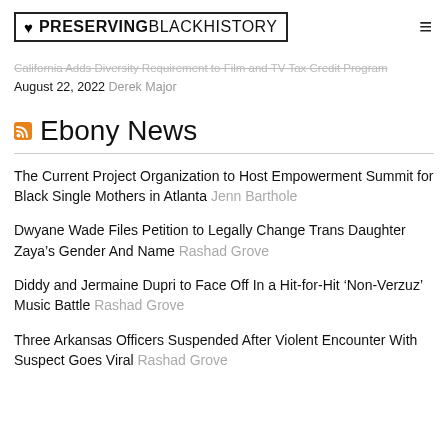PRESERVINGBLACKHISTORY
his 15-Year-Old Daughter August 22, 2022 Jeroelyn Johnson California Adds Diversity Requirement to Film and TV Tax Credit Program August 22, 2022 Derek Major
Ebony News
The Current Project Organization to Host Empowerment Summit for Black Single Mothers in Atlanta Jenn Barthole
Dwyane Wade Files Petition to Legally Change Trans Daughter Zaya's Gender And Name Rashad Grove
Diddy and Jermaine Dupri to Face Off In a Hit-for-Hit 'Non-Verzuz' Music Battle Rashad Grove
Three Arkansas Officers Suspended After Violent Encounter With Suspect Goes Viral Rashad Grove